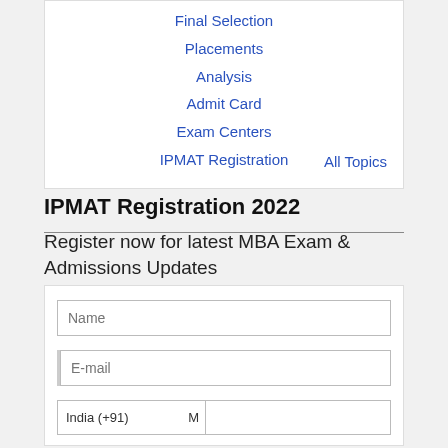Final Selection
Placements
Analysis
Admit Card
Exam Centers
IPMAT Registration
All Topics
IPMAT Registration 2022
Register now for latest MBA Exam & Admissions Updates
[Figure (screenshot): Registration form with Name, E-mail, and India (+91) phone number input fields]